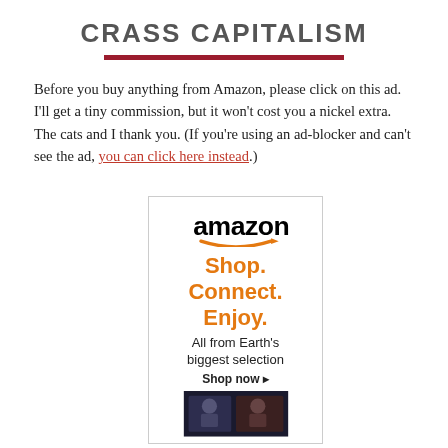CRASS CAPITALISM
Before you buy anything from Amazon, please click on this ad. I'll get a tiny commission, but it won't cost you a nickel extra. The cats and I thank you. (If you're using an ad-blocker and can't see the ad, you can click here instead.)
[Figure (other): Amazon advertisement box showing the Amazon logo with orange swoosh, tagline 'Shop. Connect. Enjoy.' in orange, subtitle 'All from Earth's biggest selection', 'Shop now ▸' link, and a partial movie/product image at the bottom.]